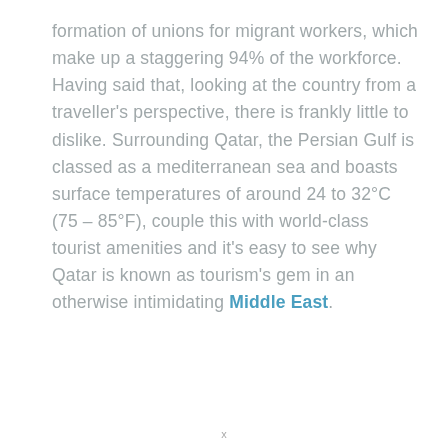formation of unions for migrant workers, which make up a staggering 94% of the workforce. Having said that, looking at the country from a traveller's perspective, there is frankly little to dislike. Surrounding Qatar, the Persian Gulf is classed as a mediterranean sea and boasts surface temperatures of around 24 to 32°C (75 – 85°F), couple this with world-class tourist amenities and it's easy to see why Qatar is known as tourism's gem in an otherwise intimidating Middle East.
x